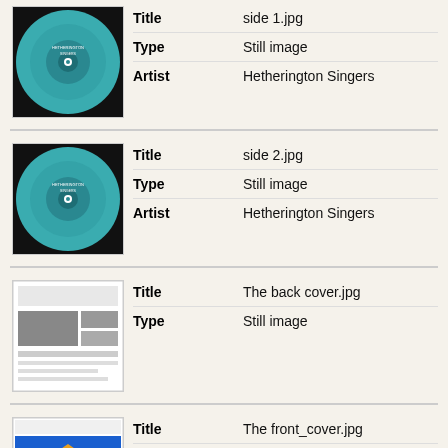| Thumbnail | Field | Value |
| --- | --- | --- |
| [teal vinyl label] | Title | side 1.jpg |
|  | Type | Still image |
|  | Artist | Hetherington Singers |
| [teal vinyl label] | Title | side 2.jpg |
|  | Type | Still image |
|  | Artist | Hetherington Singers |
| [back cover image] | Title | The back cover.jpg |
|  | Type | Still image |
| [front cover image] | Title | The front_cover.jpg |
|  | Type | text |
| [dark vinyl label] | Title | The side 1.jpg |